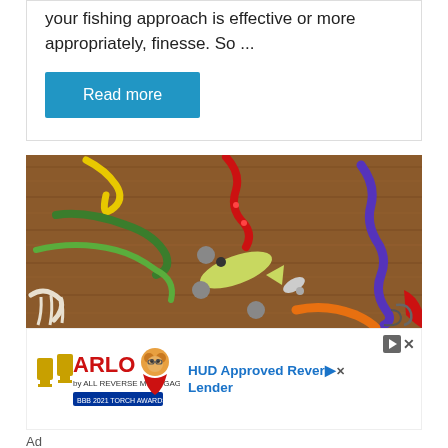your fishing approach is effective or more appropriately, finesse. So ...
Read more
[Figure (photo): Various colorful fishing lures and soft plastic baits arranged on a wooden surface — including yellow, green, red, blue, and orange worm-style lures, squid-style bait, and small weighted jig heads.]
[Figure (logo): ARLO All Reverse Mortgage Inc. advertisement with cartoon dog mascot and trophy icons. Ad headline: HUD Approved Reverse Lender]
Ad